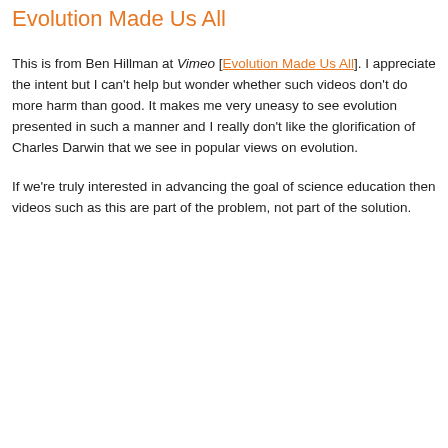Evolution Made Us All
This is from Ben Hillman at Vimeo [Evolution Made Us All]. I appreciate the intent but I can't help but wonder whether such videos don't do more harm than good. It makes me very uneasy to see evolution presented in such a manner and I really don't like the glorification of Charles Darwin that we see in popular views on evolution.
If we're truly interested in advancing the goal of science education then videos such as this are part of the problem, not part of the solution.